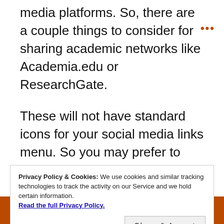media platforms. So, there are a couple things to consider for sharing academic networks like Academia.edu or ResearchGate.
These will not have standard icons for your social media links menu. So you may prefer to share these in your ‘relevant links’ bulleted list.
Back to 6 things to include on your website
Privacy Policy & Cookies: We use cookies and similar tracking technologies to track the activity on our Service and we hold certain information.
Read the full Privacy Policy.
Enthusiast, page 1 of 1 articles